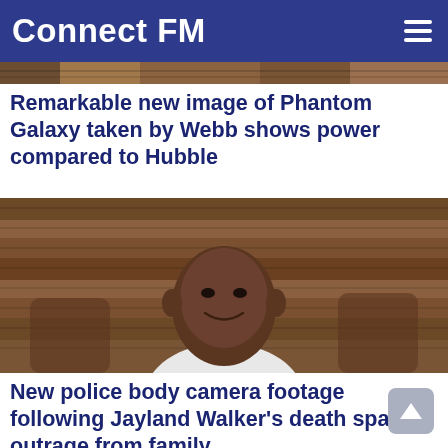Connect FM
[Figure (photo): Thin horizontal strip showing a wooden plank background, partial top of an image]
Remarkable new image of Phantom Galaxy taken by Webb shows power compared to Hubble
[Figure (photo): Portrait photo of a young Black man in a white shirt smiling, posed against a wooden plank background]
New police body camera footage following Jayland Walker's death sparks outrage from family
[Figure (photo): Rocket on launch pad against a pale blue sky, with a water tower visible at lower right]